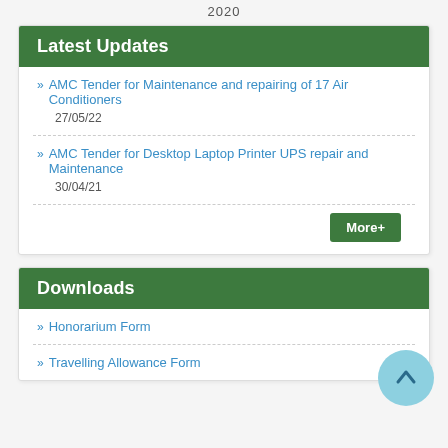2020
Latest Updates
AMC Tender for Maintenance and repairing of 17 Air Conditioners
27/05/22
AMC Tender for Desktop Laptop Printer UPS repair and Maintenance
30/04/21
Downloads
Honorarium Form
Travelling Allowance Form